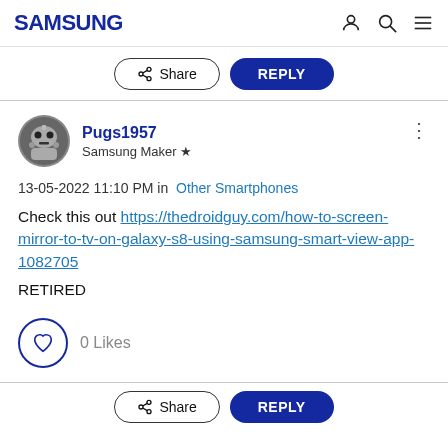SAMSUNG
Share  REPLY
Pugs1957
Samsung Maker ★
13-05-2022 11:10 PM in Other Smartphones
Check this out https://thedroidguy.com/how-to-screen-mirror-to-tv-on-galaxy-s8-using-samsung-smart-view-app-1082705
RETIRED
0 Likes
Share  REPLY